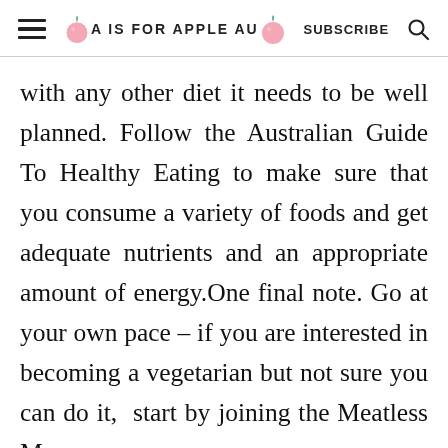A IS FOR APPLE AU — SUBSCRIBE
with any other diet it needs to be well planned. Follow the Australian Guide To Healthy Eating to make sure that you consume a variety of foods and get adequate nutrients and an appropriate amount of energy.One final note. Go at your own pace – if you are interested in becoming a vegetarian but not sure you can do it,  start by joining the Meatless Mo...